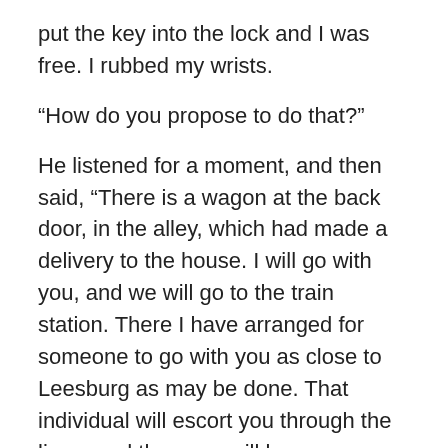put the key into the lock and I was free. I rubbed my wrists.
“How do you propose to do that?”
He listened for a moment, and then said, “There is a wagon at the back door, in the alley, which had made a delivery to the house. I will go with you, and we will go to the train station. There I have arranged for someone to go with you as close to Leesburg as may be done. That individual will escort you through the lines, and then you will be on your own again.”
“How can I ever thank you?”
He looked at me. “Knowing you are free is thanks enough for me. For a while now I have felt that Mrs. Perry is not right mentally, and her treatment of you was uncalled for